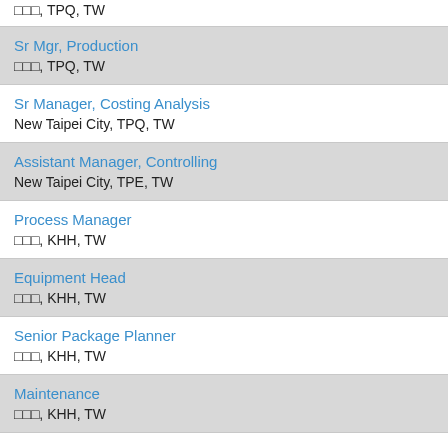□□□, TPQ, TW
Sr Mgr, Production
□□□, TPQ, TW
Sr Manager, Costing Analysis
New Taipei City, TPQ, TW
Assistant Manager, Controlling
New Taipei City, TPE, TW
Process Manager
□□□, KHH, TW
Equipment Head
□□□, KHH, TW
Senior Package Planner
□□□, KHH, TW
Maintenance
□□□, KHH, TW